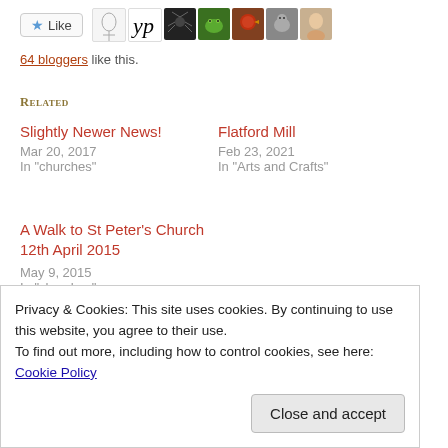[Figure (other): Like button with star icon and row of blogger avatar thumbnails]
64 bloggers like this.
Related
Slightly Newer News!
Mar 20, 2017
In "churches"
Flatford Mill
Feb 23, 2021
In "Arts and Crafts"
A Walk to St Peter's Church 12th April 2015
May 9, 2015
In "churches"
Privacy & Cookies: This site uses cookies. By continuing to use this website, you agree to their use.
To find out more, including how to control cookies, see here: Cookie Policy
Close and accept